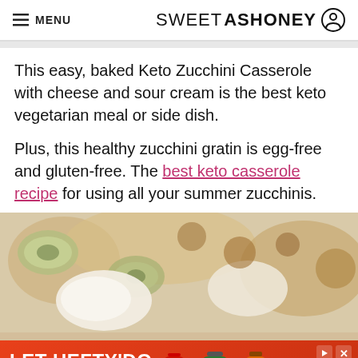≡ MENU   SWEETASHONEY
This easy, baked Keto Zucchini Casserole with cheese and sour cream is the best keto vegetarian meal or side dish.
Plus, this healthy zucchini gratin is egg-free and gluten-free. The best keto casserole recipe for using all your summer zucchinis.
[Figure (photo): Close-up photo of a baked keto zucchini casserole with melted cheese and sour cream in a baking dish]
[Figure (other): Advertisement banner: LET HEFTY DO THE DISHES - Hefty EcoSave product ad with orange background and SHOP NOW button]